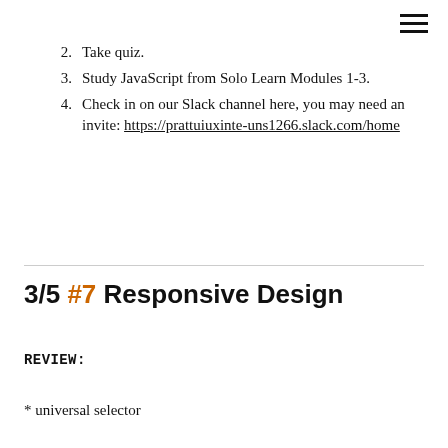2.  Take quiz.
3.  Study JavaScript from Solo Learn Modules 1-3.
4.  Check in on our Slack channel here, you may need an invite: https://prattuiuxinte-uns1266.slack.com/home
3/5 #7 Responsive Design
REVIEW:
* universal selector